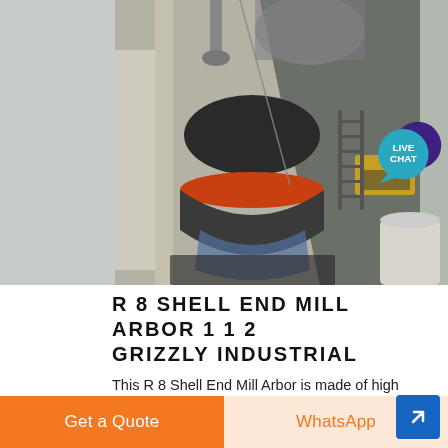[Figure (photo): Industrial cone crusher or mill arbor machine inside a factory setting, viewed from above, showing large cylindrical machinery with orange band, surrounded by metal framework and piping]
R 8 SHELL END MILL ARBOR 1 1 2 GRIZZLY INDUSTRIAL
This R 8 Shell End Mill Arbor is made of high speed steel and has a 1 1 2 capacity Takes 7 16 20 drawbar ...